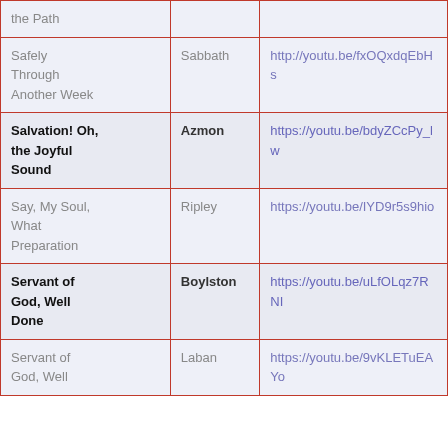| Hymn | Tune | Link |
| --- | --- | --- |
| the Path |  |  |
| Safely Through Another Week | Sabbath | http://youtu.be/fxOQxdqEbHs |
| Salvation! Oh, the Joyful Sound | Azmon | https://youtu.be/bdyZCcPy_lw |
| Say, My Soul, What Preparation | Ripley | https://youtu.be/IYD9r5s9hio |
| Servant of God, Well Done | Boylston | https://youtu.be/uLfOLqz7RNI |
| Servant of God, Well Done | Laban | https://youtu.be/9vKLETuEAYo |